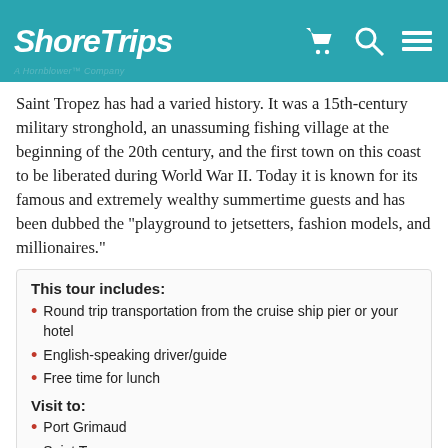ShoreTrips — A Hornblower Company
Saint Tropez has had a varied history. It was a 15th-century military stronghold, an unassuming fishing village at the beginning of the 20th century, and the first town on this coast to be liberated during World War II. Today it is known for its famous and extremely wealthy summertime guests and has been dubbed the "playground to jetsetters, fashion models, and millionaires."
This tour includes:
Round trip transportation from the cruise ship pier or your hotel
English-speaking driver/guide
Free time for lunch
Visit to:
Port Grimaud
Saint Tropez
DAYS OF OPERATION
MON TUE WED THU FRI SAT SUN